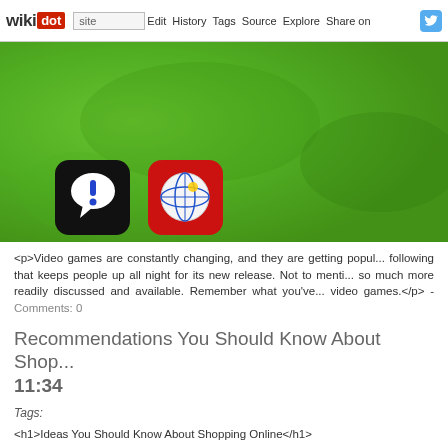wikidot | site | Edit | History | Tags | Source | Explore | Share on [Twitter]
[Figure (screenshot): Green textured banner with two app icons: a black rounded square with a speech bubble exclamation mark icon, and a red rounded square with a globe/network icon]
<p>Video games are constantly changing, and they are getting popul... following that keeps people up all night for its new release. Not to menti... so much more readily discussed and available. Remember what you've... video games.</p> - Comments: 0
Recommendations You Should Know About Sho... 11:34
Tags:
<h1>Ideas You Should Know About Shopping Online</h1>
<p>However a lot of people get pleasure from wandering the shopping... shopping in other methods. Other people prefer to get their a chance to a... web correct in the home. This content below has got the information... internet.</p>
<p>While shopping on the internet, it is critical that you invest time o...